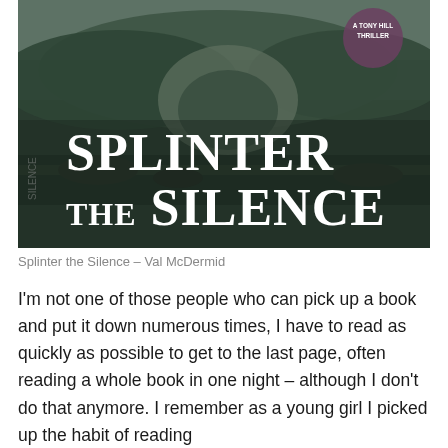[Figure (photo): Photograph of the book 'Splinter the Silence' by Val McDermid, showing the hardback cover with large white text 'SPLINTER THE SILENCE' against a dark moody background with water and rocks, and a circular badge in the top right.]
Splinter the Silence – Val McDermid
I'm not one of those people who can pick up a book and put it down numerous times, I have to read as quickly as possible to get to the last page, often reading a whole book in one night – although I don't do that anymore. I remember as a young girl I picked up the habit of reading